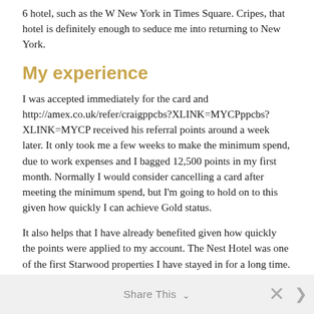6 hotel, such as the W New York in Times Square. Cripes, that hotel is definitely enough to seduce me into returning to New York.
My experience
I was accepted immediately for the card and http://amex.co.uk/refer/craigppcbs?XLINK=MYCPppcbs?XLINK=MYCP received his referral points around a week later. It only took me a few weeks to make the minimum spend, due to work expenses and I bagged 12,500 points in my first month. Normally I would consider cancelling a card after meeting the minimum spend, but I'm going to hold on to this given how quickly I can achieve Gold status.
It also helps that I have already benefited given how quickly the points were applied to my account. The Nest Hotel was one of the first Starwood properties I have stayed in for a long time. It is pretty darn cool!
Share This